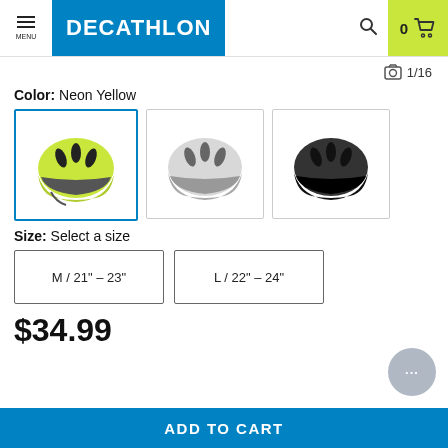MENU | DECATHLON | 0 (cart)
1/16
Color: Neon Yellow
[Figure (photo): Three bicycle helmets side by side: neon yellow (selected, highlighted with blue border), light gray, and dark black/charcoal]
Size: Select a size
M / 21" – 23"
L / 22" – 24"
$34.99
ADD TO CART